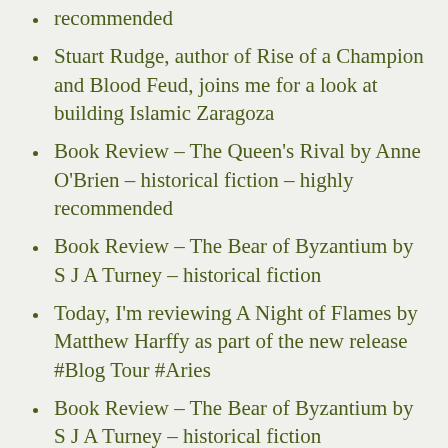recommended
Stuart Rudge, author of Rise of a Champion and Blood Feud, joins me for a look at building Islamic Zaragoza
Book Review – The Queen's Rival by Anne O'Brien – historical fiction – highly recommended
Book Review – The Bear of Byzantium by S J A Turney – historical fiction
Today, I'm reviewing A Night of Flames by Matthew Harffy as part of the new release #Blog Tour #Aries
Book Review – The Bear of Byzantium by S J A Turney – historical fiction
The Only Living Lady Parachutist by Catherine Clarke Book Review – historical